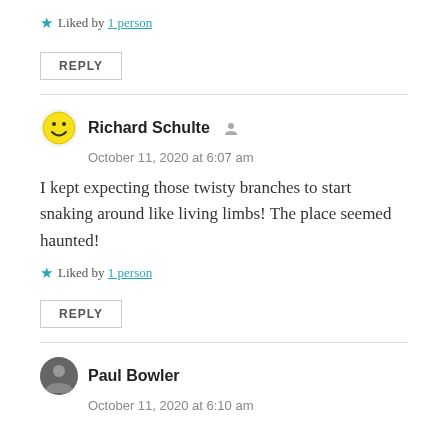★ Liked by 1 person
REPLY
Richard Schulte
October 11, 2020 at 6:07 am
I kept expecting those twisty branches to start snaking around like living limbs! The place seemed haunted!
★ Liked by 1 person
REPLY
Paul Bowler
October 11, 2020 at 6:10 am